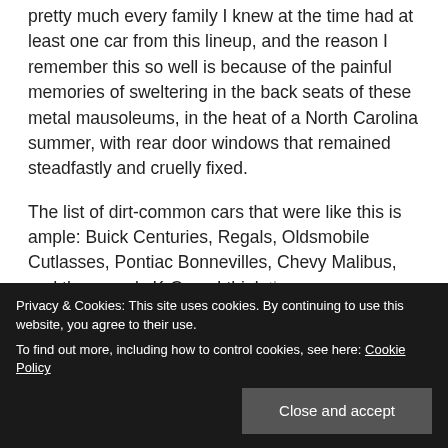pretty much every family I knew at the time had at least one car from this lineup, and the reason I remember this so well is because of the painful memories of sweltering in the back seats of these metal mausoleums, in the heat of a North Carolina summer, with rear door windows that remained steadfastly and cruelly fixed.
The list of dirt-common cars that were like this is ample: Buick Centuries, Regals, Oldsmobile Cutlasses, Pontiac Bonnevilles, Chevy Malibus, and those early K-Cars. I think there were some others, as well, but these sorts of cars formed the backbone of the carscape of America at the
Privacy & Cookies: This site uses cookies. By continuing to use this website, you agree to their use. To find out more, including how to control cookies, see here: Cookie Policy